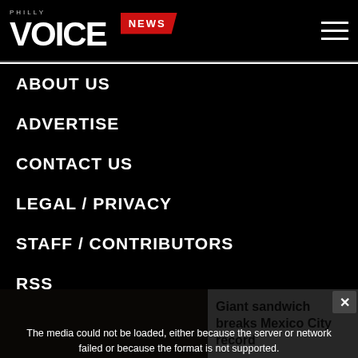PHILLY VOICE | NEWS
ABOUT US
ADVERTISE
CONTACT US
LEGAL / PRIVACY
STAFF / CONTRIBUTORS
RSS
[Figure (screenshot): Video player showing error message: 'The media could not be loaded, either because the server or network failed or because the format is not supported.' Overlaid on a dark background with a thumbnail image. A close button (X) is visible in the top right.]
Giant sandwich breaks Mexico City record
[Figure (screenshot): Advertisement banner for ULTA beauty featuring lip, makeup brush, eye makeup images and a 'SHOP NOW' button. A close (x) button is visible.]